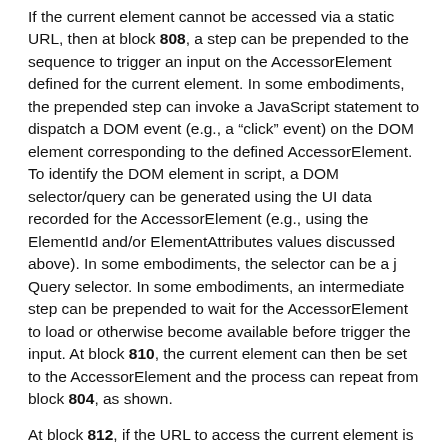If the current element cannot be accessed via a static URL, then at block 808, a step can be prepended to the sequence to trigger an input on the AccessorElement defined for the current element. In some embodiments, the prepended step can invoke a JavaScript statement to dispatch a DOM event (e.g., a "click" event) on the DOM element corresponding to the defined AccessorElement. To identify the DOM element in script, a DOM selector/query can be generated using the UI data recorded for the AccessorElement (e.g., using the ElementId and/or ElementAttributes values discussed above). In some embodiments, the selector can be a jQuery selector. In some embodiments, an intermediate step can be prepended to wait for the AccessorElement to load or otherwise become available before trigger the input. At block 810, the current element can then be set to the AccessorElement and the process can repeat from block 804, as shown.
At block 812, if the URL to access the current element is the same for all users (e.g., AccessorURLType equals "Static"), then a block 814, a step can be prepended to the sequence to navigate to the static URL and the process